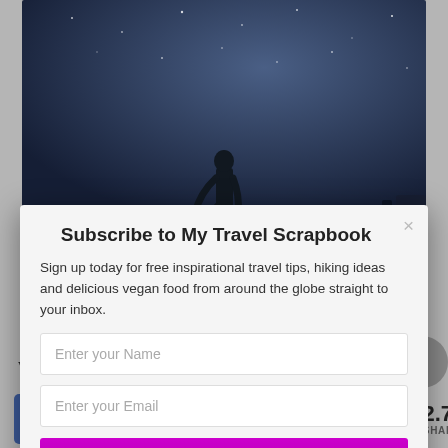[Figure (photo): Dark night sky photo with silhouette of person standing, stars visible, blue-grey tones]
Subscribe to My Travel Scrapbook
Sign up today for free inspirational travel tips, hiking ideas and delicious vegan food from around the globe straight to your inbox.
Enter your Name
Enter your Email
SUBSCRIBE NOW
POWERED BY SUMO
Whilst the valley floo... as much cloud
f  7  [pinterest]  [reddit]  [mail]  < 2.7K SHARES